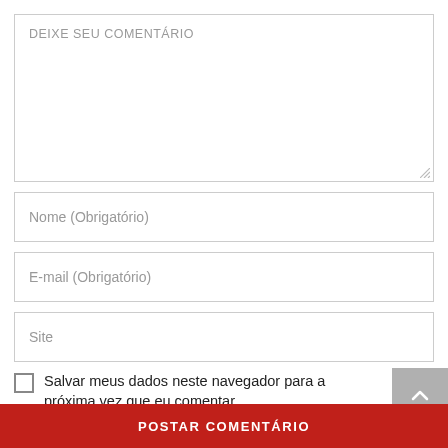DEIXE SEU COMENTÁRIO
Nome (Obrigatório)
E-mail (Obrigatório)
Site
Salvar meus dados neste navegador para a próxima vez que eu comentar.
POSTAR COMENTÁRIO